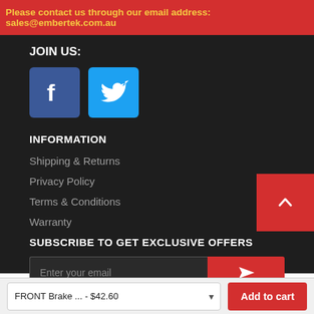Please contact us through our email address: sales@embertek.com.au
JOIN US:
[Figure (logo): Facebook and Twitter social media icons]
INFORMATION
Shipping & Returns
Privacy Policy
Terms & Conditions
Warranty
SUBSCRIBE TO GET EXCLUSIVE OFFERS
Enter your email